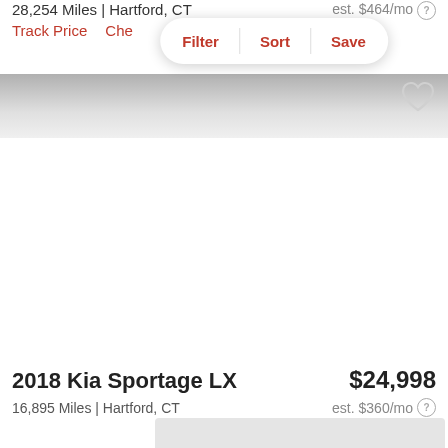28,254 Miles | Hartford, CT
est. $464/mo
Track Price  Che...
Filter  Sort  Save
2018 Kia Sportage LX
$24,998
16,895 Miles | Hartford, CT
est. $360/mo